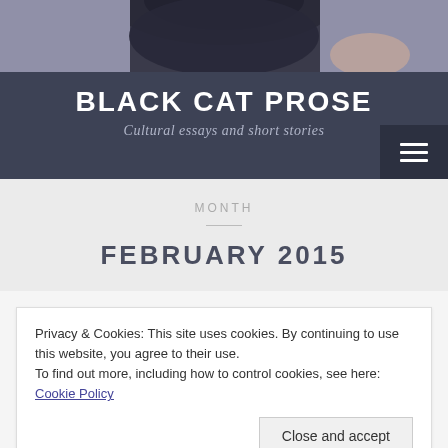[Figure (photo): Partial photo of a black cat at the top of the page header area]
BLACK CAT PROSE
Cultural essays and short stories
MONTH
FEBRUARY 2015
Privacy & Cookies: This site uses cookies. By continuing to use this website, you agree to their use.
To find out more, including how to control cookies, see here: Cookie Policy
[Figure (photo): Partial sky/cloud image at the bottom of the page]